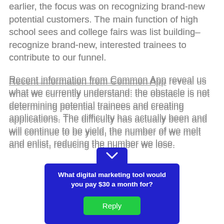earlier, the focus was on recognizing brand-new potential customers. The main function of high school sees and college fairs was list building– recognize brand-new, interested trainees to contribute to our funnel.
Recent information from Common App reveal us what we currently understand: the obstacle is not determining potential trainees and creating applications. The difficulty has actually been and will continue to be yield, the number of we melt and enlist, reducing the number we lose.
[Figure (other): Blue popup dialog box with chevron toggle at top, asking 'What digital marketing tool would you pay $30 a month for?' with a green Reply button.]